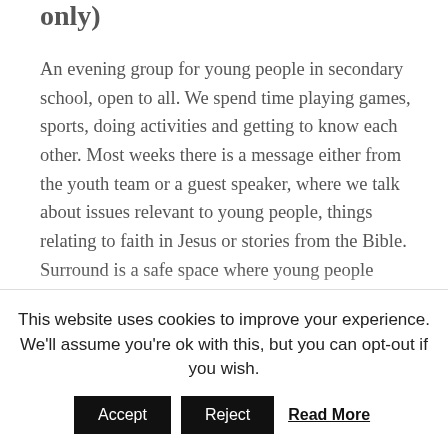only)
An evening group for young people in secondary school, open to all. We spend time playing games, sports, doing activities and getting to know each other. Most weeks there is a message either from the youth team or a guest speaker, where we talk about issues relevant to young people, things relating to faith in Jesus or stories from the Bible. Surround is a safe space where young people
This website uses cookies to improve your experience. We'll assume you're ok with this, but you can opt-out if you wish.
Accept   Reject   Read More